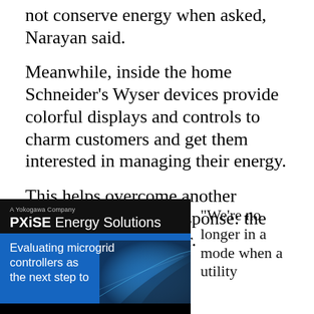not conserve energy when asked, Narayan said.
Meanwhile, inside the home Schneider's Wyser devices provide colorful displays and controls to charm customers and get them interested in managing their energy.
This helps overcome another obstacle to demand response: the disinterested consumer.
[Figure (screenshot): PXiSE Energy Solutions (A Yokogawa Company) advertisement showing 'Evaluating microgrid controllers as the next step to' with blue background section and dark tech imagery]
“We’re no longer in a mode when a utility